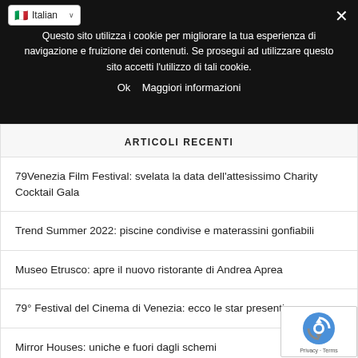[Figure (screenshot): Language selector dropdown showing Italian flag and text 'Italian' with dropdown arrow]
Questo sito utilizza i cookie per migliorare la tua esperienza di navigazione e fruizione dei contenuti. Se prosegui ad utilizzare questo sito accetti l'utilizzo di tali cookie.
Ok   Maggiori informazioni
ARTICOLI RECENTI
79Venezia Film Festival: svelata la data dell'attesissimo Charity Cocktail Gala
Trend Summer 2022: piscine condivise e materassini gonfiabili
Museo Etrusco: apre il nuovo ristorante di Andrea Aprea
79° Festival del Cinema di Venezia: ecco le star presenti
Mirror Houses: uniche e fuori dagli schemi
[Figure (logo): reCAPTCHA badge with Privacy and Terms links]